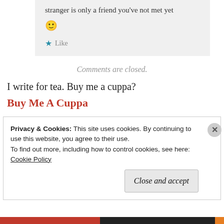stranger is only a friend you've not met yet 🙂
★ Like
Comments are closed.
I write for tea. Buy me a cuppa?
Buy Me A Cuppa
Privacy & Cookies: This site uses cookies. By continuing to use this website, you agree to their use.
To find out more, including how to control cookies, see here: Cookie Policy
Close and accept